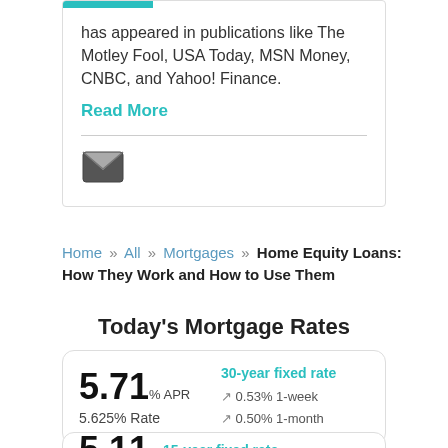has appeared in publications like The Motley Fool, USA Today, MSN Money, CNBC, and Yahoo! Finance.
Read More
[Figure (illustration): Envelope/mail icon in dark gray]
Home » All » Mortgages » Home Equity Loans: How They Work and How to Use Them
Today's Mortgage Rates
| Rate | Type | Changes |
| --- | --- | --- |
| 5.71% APR / 5.625% Rate | 30-year fixed rate | ↗ 0.53% 1-week / ↗ 0.50% 1-month |
| Rate | Type |
| --- | --- |
| 5.11 | 15-year fixed rate |